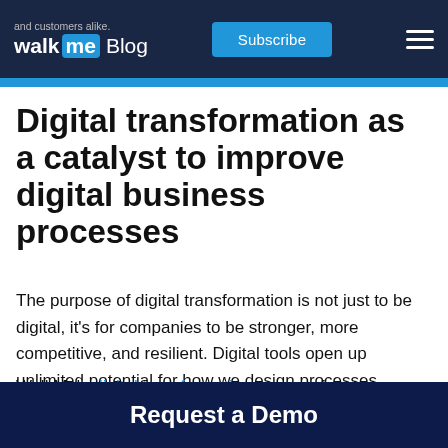and customers alike. walk me Blog | Subscribe
Digital transformation as a catalyst to improve digital business processes
The purpose of digital transformation is not just to be digital, it's for companies to be stronger, more competitive, and resilient. Digital tools open up unlimited potential for how we design processes, shape strategies, and improve the bottom line.
WalkMe's digital transformation survey of over
Request a Demo